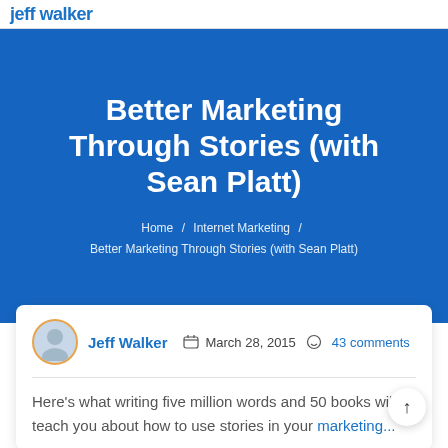Jeff Walker
Better Marketing Through Stories (with Sean Platt)
Home / Internet Marketing / Better Marketing Through Stories (with Sean Platt)
Jeff Walker   March 28, 2015   43 comments
Here's what writing five million words and 50 books will teach you about how to use stories in your marketing...